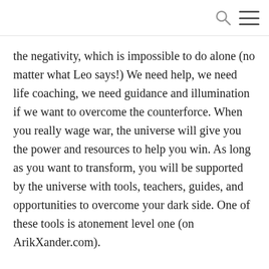the negativity, which is impossible to do alone (no matter what Leo says!) We need help, we need life coaching, we need guidance and illumination if we want to overcome the counterforce. When you really wage war, the universe will give you the power and resources to help you win. As long as you want to transform, you will be supported by the universe with tools, teachers, guides, and opportunities to overcome your dark side. One of these tools is atonement level one (on ArikXander.com).
Remember that everything you experience is an opportunity to pierce the illusion so that you can